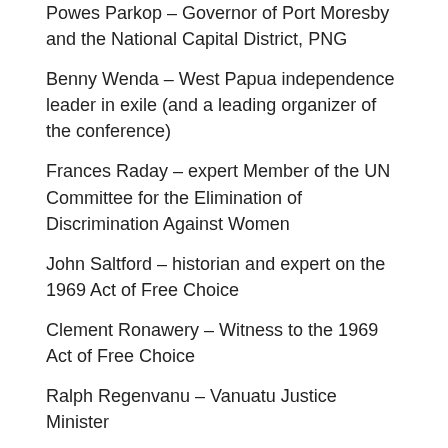Powes Parkop – Governor of Port Moresby and the National Capital District, PNG
Benny Wenda – West Papua independence leader in exile (and a leading organizer of the conference)
Frances Raday – expert Member of the UN Committee for the Elimination of Discrimination Against Women
John Saltford – historian and expert on the 1969 Act of Free Choice
Clement Ronawery – Witness to the 1969 Act of Free Choice
Ralph Regenvanu – Vanuatu Justice Minister
Charles Foster – co-founder of the International Lawyers for West Papua
The Mayor of Oxford has agreed to fly the Morning Star flag above Oxford Town Hall on the day of the